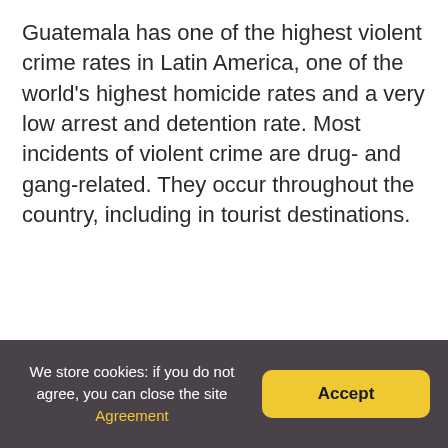Guatemala has one of the highest violent crime rates in Latin America, one of the world's highest homicide rates and a very low arrest and detention rate. Most incidents of violent crime are drug- and gang-related. They occur throughout the country, including in tourist destinations.
We store cookies: if you do not agree, you can close the site Agreement [Accept]